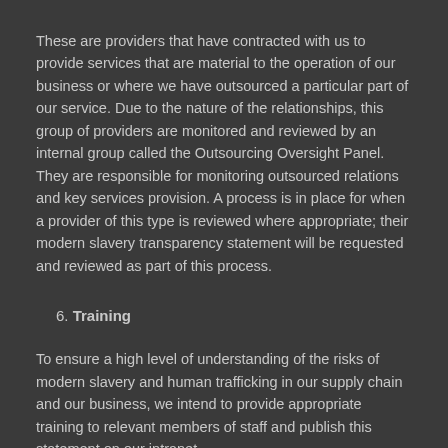These are providers that have contracted with us to provide services that are material to the operation of our business or where we have outsourced a particular part of our service. Due to the nature of the relationships, this group of providers are monitored and reviewed by an internal group called the Outsourcing Oversight Panel. They are responsible for monitoring outsourced relations and key services provision. A process is in place for when a provider of this type is reviewed where appropriate; their modern slavery transparency statement will be requested and reviewed as part of this process.
6. Training
To ensure a high level of understanding of the risks of modern slavery and human trafficking in our supply chain and our business, we intend to provide appropriate training to relevant members of staff and publish this statement on our intranet.
Approval